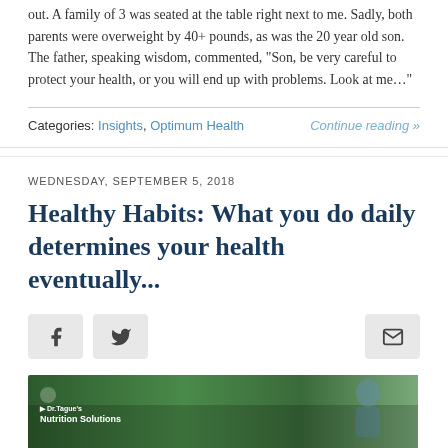out. A family of 3 was seated at the table right next to me. Sadly, both parents were overweight by 40+ pounds, as was the 20 year old son. The father, speaking wisdom, commented, “Son, be very careful to protect your health, or you will end up with problems. Look at me…”
Categories: Insights, Optimum Health
Continue reading »
WEDNESDAY, SEPTEMBER 5, 2018
Healthy Habits: What you do daily determines your health eventually...
[Figure (other): Social media share buttons: Facebook, Twitter, and email icons on grey rounded rectangle buttons]
[Figure (photo): Dr. Tague's Nutrition Solutions branded image showing greenery and a person outdoors]